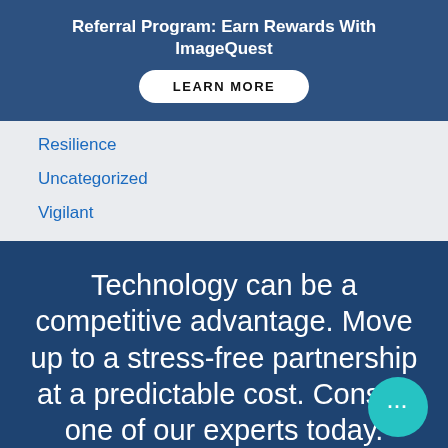Referral Program: Earn Rewards With ImageQuest
LEARN MORE
Resilience
Uncategorized
Vigilant
Technology can be a competitive advantage. Move up to a stress-free partnership at a predictable cost. Consult one of our experts today.